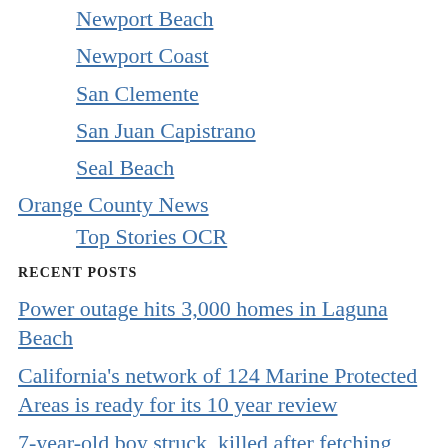Newport Beach
Newport Coast
San Clemente
San Juan Capistrano
Seal Beach
Orange County News
Top Stories OCR
RECENT POSTS
Power outage hits 3,000 homes in Laguna Beach
California's network of 124 Marine Protected Areas is ready for its 10 year review
7-year-old boy struck, killed after fetching ball in Santa Ana street
California power use soars to highest in years during record heat wave